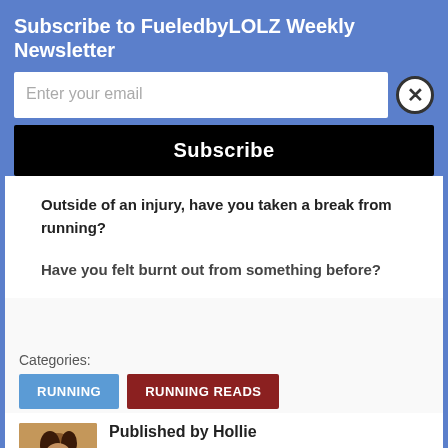Subscribe to FueledbyLOLZ Weekly Newsletter
Enter your email
Subscribe
Outside of an injury, have you taken a break from running?
Have you felt burnt out from something before?
Categories:
RUNNING
RUNNING READS
Published by Hollie
Posts are written and maintained by Hollie. I'm just runner who is blogging her way through internet life. If